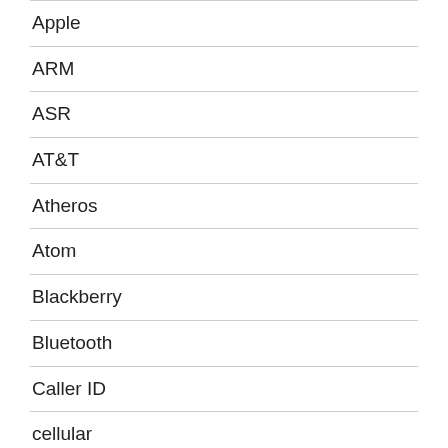Apple
ARM
ASR
AT&T
Atheros
Atom
Blackberry
Bluetooth
Caller ID
cellular
Cisco